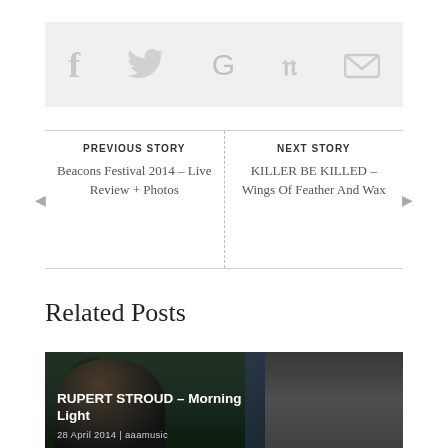[Figure (other): Social sharing icons bar: Facebook (f), Twitter bird, Google (G), Pinterest (p), Email (envelope) — light gray icons on light gray background]
PREVIOUS STORY
Beacons Festival 2014 – Live Review + Photos
NEXT STORY
KILLER BE KILLED – Wings Of Feather And Wax
Related Posts
[Figure (photo): Dark photo of a person with curly hair against a dark background — related post thumbnail for 'RUPERT STROUD – Morning Light']
RUPERT STROUD – Morning Light
28 April 2014 | aaamusic